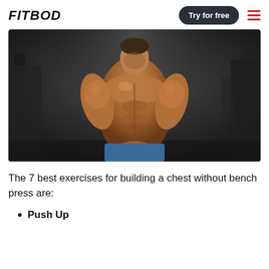FITBOD
[Figure (photo): Muscular shirtless male bodybuilder posing in a dark gym, hands clasped in front, showing defined chest and abdominal muscles]
The 7 best exercises for building a chest without bench press are:
Push Up